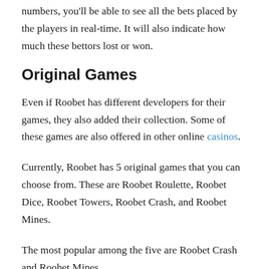numbers, you'll be able to see all the bets placed by the players in real-time. It will also indicate how much these bettors lost or won.
Original Games
Even if Roobet has different developers for their games, they also added their collection. Some of these games are also offered in other online casinos.
Currently, Roobet has 5 original games that you can choose from. These are Roobet Roulette, Roobet Dice, Roobet Towers, Roobet Crash, and Roobet Mines.
The most popular among the five are Roobet Crash and Roobet Mines.
Roobet Crash is a game where you place a wager and the rocket ship takes off. Your goal is to cash out or bail before your rocket crashes. But before you bail, you need your rocket to go higher